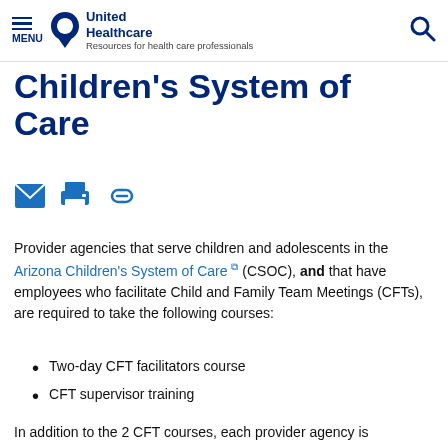MENU | United Healthcare | Resources for health care professionals
Children's System of Care
[Figure (infographic): Icon bar with email, print, and link icons in blue]
Provider agencies that serve children and adolescents in the Arizona Children's System of Care (CSOC), and that have employees who facilitate Child and Family Team Meetings (CFTs), are required to take the following courses:
Two-day CFT facilitators course
CFT supervisor training
In addition to the 2 CFT courses, each provider agency is